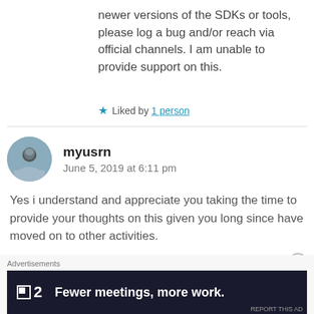newer versions of the SDKs or tools, please log a bug and/or reach via official channels. I am unable to provide support on this.
Liked by 1 person
myusrn
June 5, 2019 at 6:11 pm
Yes i understand and appreciate you taking the time to provide your thoughts on this given you long since have moved on to other activities.
Like
Advertisements
[Figure (screenshot): Dark advertisement banner: logo with square icon and '2', text 'Fewer meetings, more work.']